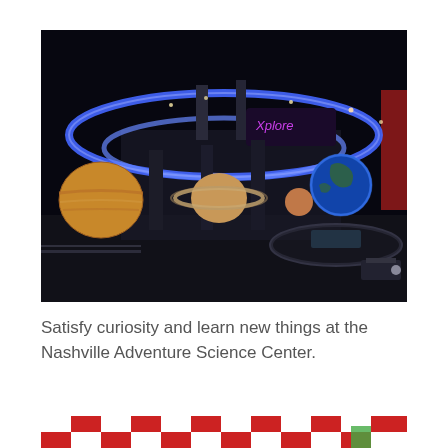[Figure (photo): Interior of the Nashville Adventure Science Center showing a dark space-themed exhibit hall with glowing blue spiral rings on the ceiling, large planet models (Jupiter, Saturn, others) displayed along the left wall, a large illuminated blue Earth globe in the center, and warm exhibit lighting throughout.]
Satisfy curiosity and learn new things at the Nashville Adventure Science Center.
[Figure (photo): Partial view of a colorful exhibit with red and white checkered or patterned elements, partially cropped at the bottom of the page.]